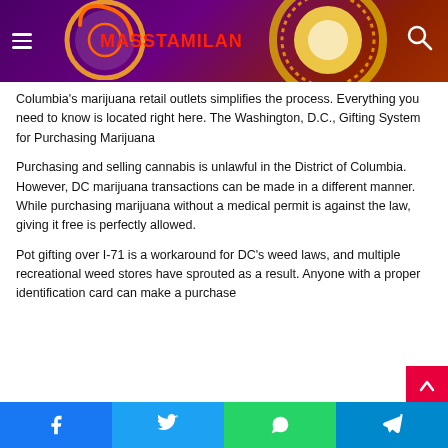MASSTAMILAN
Columbia's marijuana retail outlets simplifies the process. Everything you need to know is located right here. The Washington, D.C., Gifting System for Purchasing Marijuana
Purchasing and selling cannabis is unlawful in the District of Columbia. However, DC marijuana transactions can be made in a different manner. While purchasing marijuana without a medical permit is against the law, giving it free is perfectly allowed.
Pot gifting over I-71 is a workaround for DC's weed laws, and multiple recreational weed stores have sprouted as a result. Anyone with a proper identification card can make a purchase
Facebook  Twitter  WhatsApp  Telegram